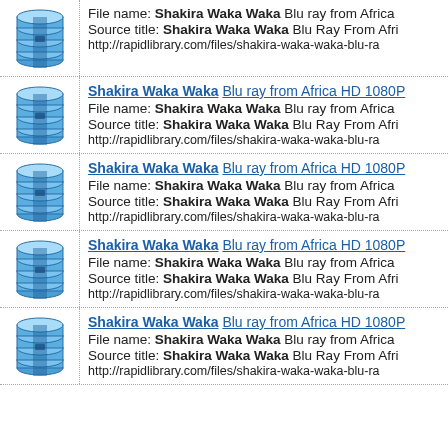File name: Shakira Waka Waka Blu ray from Africa... Source title: Shakira Waka Waka Blu Ray From Afri... http://rapidlibrary.com/files/shakira-waka-waka-blu-ra...
Shakira Waka Waka Blu ray from Africa HD 1080P ... File name: Shakira Waka Waka Blu ray from Africa... Source title: Shakira Waka Waka Blu Ray From Afri... http://rapidlibrary.com/files/shakira-waka-waka-blu-ra...
Shakira Waka Waka Blu ray from Africa HD 1080P ... File name: Shakira Waka Waka Blu ray from Africa... Source title: Shakira Waka Waka Blu Ray From Afri... http://rapidlibrary.com/files/shakira-waka-waka-blu-ra...
Shakira Waka Waka Blu ray from Africa HD 1080P ... File name: Shakira Waka Waka Blu ray from Africa... Source title: Shakira Waka Waka Blu Ray From Afri... http://rapidlibrary.com/files/shakira-waka-waka-blu-ra...
Shakira Waka Waka Blu ray from Africa HD 1080P ... File name: Shakira Waka Waka Blu ray from Africa... Source title: Shakira Waka Waka Blu Ray From Afri... http://rapidlibrary.com/files/shakira-waka-waka-blu-ra...